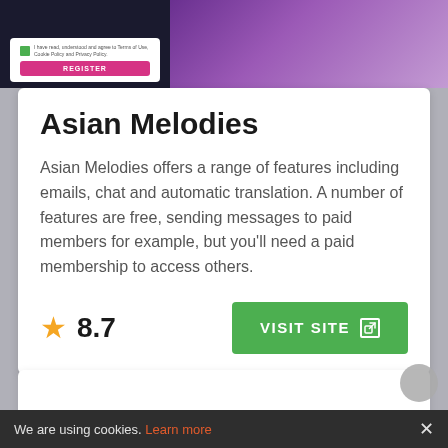[Figure (screenshot): Top banner with a registration form on dark background (left) and a purple-toned sports/dancing image (right)]
Asian Melodies
Asian Melodies offers a range of features including emails, chat and automatic translation. A number of features are free, sending messages to paid members for example, but you’ll need a paid membership to access others.
8.7
VISIT SITE
We are using cookies. Learn more